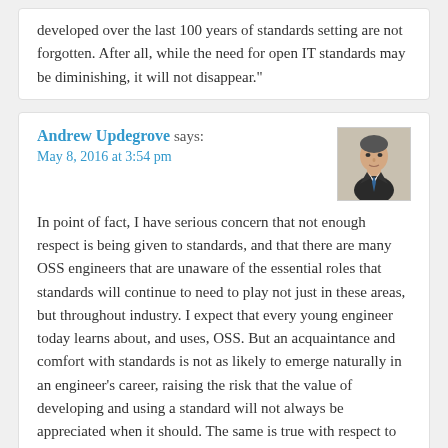developed over the last 100 years of standards setting are not forgotten. After all, while the need for open IT standards may be diminishing, it will not disappear."
Andrew Updegrove says: May 8, 2016 at 3:54 pm
[Figure (photo): Small portrait photo of Andrew Updegrove, a man in a suit and tie]
In point of fact, I have serious concern that not enough respect is being given to standards, and that there are many OSS engineers that are unaware of the essential roles that standards will continue to need to play not just in these areas, but throughout industry. I expect that every young engineer today learns about, and uses, OSS. But an acquaintance and comfort with standards is not as likely to emerge naturally in an engineer's career, raising the risk that the value of developing and using a standard will not always be appreciated when it should. The same is true with respect to the business people that own the decision whether or not to use an open source or an open standard to drive towards a specific objective.